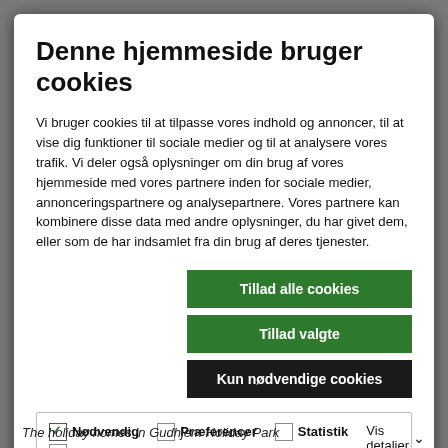Denne hjemmeside bruger cookies
Vi bruger cookies til at tilpasse vores indhold og annoncer, til at vise dig funktioner til sociale medier og til at analysere vores trafik. Vi deler også oplysninger om din brug af vores hjemmeside med vores partnere inden for sociale medier, annonceringspartnere og analysepartnere. Vores partnere kan kombinere disse data med andre oplysninger, du har givet dem, eller som de har indsamlet fra din brug af deres tjenester.
Tillad alle cookies
Tillad valgte
Kun nødvendige cookies
Nødvendig  Præferencer  Statistik  Vis detaljer  Marketing
The holiday homes in Gudhjem Holiday Park